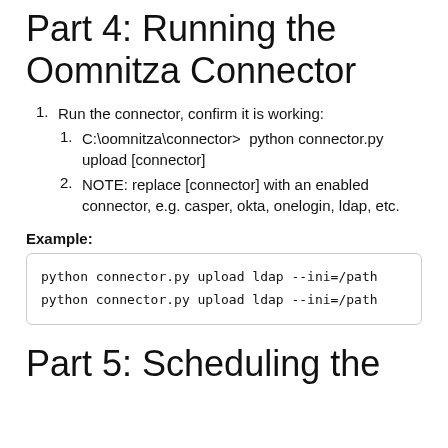Part 4: Running the Oomnitza Connector
Run the connector, confirm it is working:
C:\oomnitza\connector>  python connector.py upload [connector]
NOTE: replace [connector] with an enabled connector, e.g. casper, okta, onelogin, ldap, etc.
Example:
python connector.py upload ldap --ini=/path
python connector.py upload ldap --ini=/path
Part 5: Scheduling the